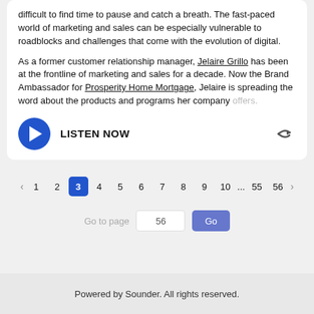difficult to find time to pause and catch a breath. The fast-paced world of marketing and sales can be especially vulnerable to roadblocks and challenges that come with the evolution of digital.
As a former customer relationship manager, Jelaire Grillo has been at the frontline of marketing and sales for a decade. Now the Brand Ambassador for Prosperity Home Mortgage, Jelaire is spreading the word about the products and programs her company offers.
[Figure (other): LISTEN NOW button with blue circular play icon on the left and a share/forward arrow icon on the right]
< 1 2 3 4 5 6 7 8 9 10 ... 55 56 >
Go to page 56 Go
Powered by Sounder. All rights reserved.